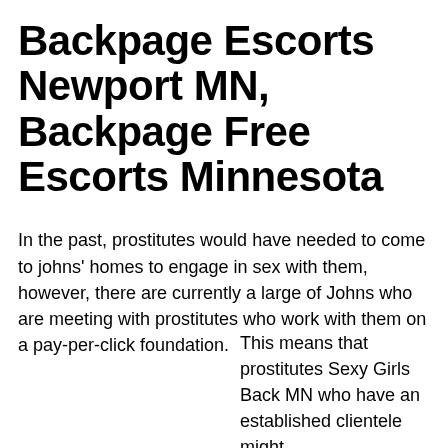Backpage Escorts Newport MN, Backpage Free Escorts Minnesota
In the past, prostitutes would have needed to come to johns' homes to engage in sex with them, however, there are currently a large of Johns who are meeting with prostitutes who work with them on a pay-per-click foundation.
This means that prostitutes Sexy Girls Back MN who have an established clientele might